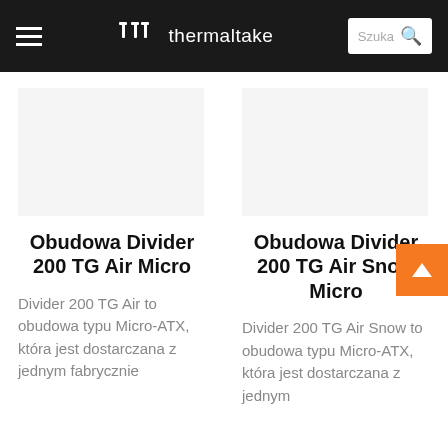thermaltake — Szuka [search bar]
Obudowa Divider 200 TG Air Micro
Divider 200 TG Air to obudowa typu Micro-ATX, która jest dostarczana z jednym fabrycznie
Obudowa Divider 200 TG Air Snow Micro
Divider 200 TG Air Snow to obudowa typu Micro-ATX, która jest dostarczana z jednym